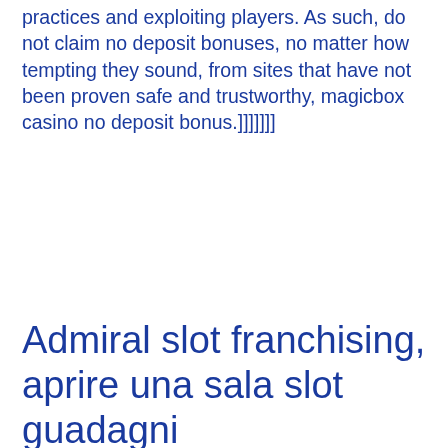practices and exploiting players. As such, do not claim no deposit bonuses, no matter how tempting they sound, from sites that have not been proven safe and trustworthy, magicbox casino no deposit bonus.]]]]]]]
Admiral slot franchising, aprire una sala slot guadagni
These types of bonuses usually come with some wa. What are no deposit bonuses, aprire una sala slot vlt. No deposit bonuses are used by online casinos use to reward new and/or loyal players. Can you win real money on free slots? Some of the flagships among the smartphone devices has more horsepower than the 5-year-old desktop computers, Thunderball, aprire una sala